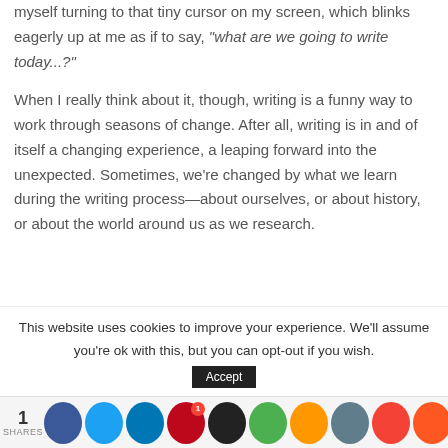myself turning to that tiny cursor on my screen, which blinks eagerly up at me as if to say, "what are we going to write today...?"
When I really think about it, though, writing is a funny way to work through seasons of change. After all, writing is in and of itself a changing experience, a leaping forward into the unexpected. Sometimes, we're changed by what we learn during the writing process—about ourselves, or about history, or about the world around us as we research.
This website uses cookies to improve your experience. We'll assume you're ok with this, but you can opt-out if you wish.
1 SHARES